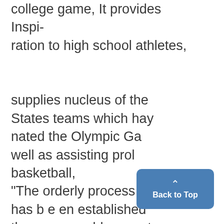college game, It provides Inspiration to high school athletes,

supplies nucleus of the States teams which hay nated the Olympic Ga well as assisting prol basketball,
"The orderly process has b e en established the years enables an at develop his ability thros iege competition directee finest coaches and also